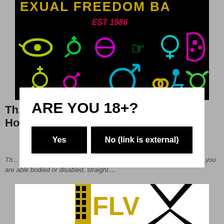[Figure (illustration): Black banner with colorful gender/sexuality symbols and text 'EST 1986' in pink/red, with various neon-colored symbols including female, male, transgender, disability, and other identity symbols on black background]
ARE YOU 18+?
Yes
No (link is external)
Th... hedonistic experience with something to suit everyone. Whether you are able bodied or disabled, straight....
[Figure (logo): FLV logo with film strip design in gold/yellow and black on white background, with silhouette of a person]